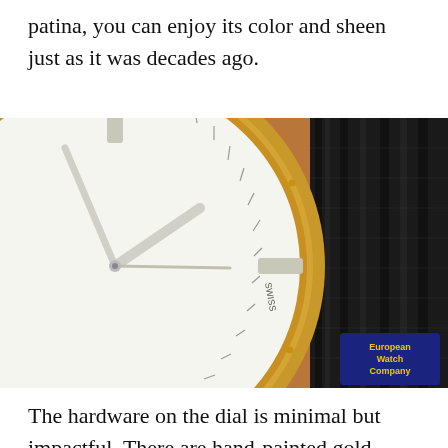patina, you can enjoy its color and sheen just as it was decades ago.
[Figure (photo): Close-up macro photograph of a vintage watch dial showing white enamel face with gold hour markers, silver hands, gold bezel with small dot indices, and a black leather strap visible on the right. European Watch Company logo in bottom right corner.]
The hardware on the dial is minimal but impactful. There are hand-painted gold circles